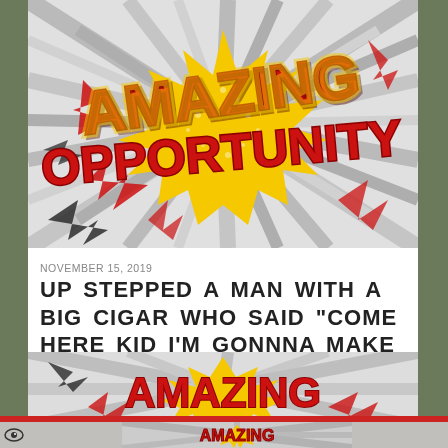[Figure (illustration): Comic-book style 'AMAZING OPPORTUNITY' explosion graphic with red and yellow lettering on burst background]
NOVEMBER 15, 2019
UP STEPPED A MAN WITH A BIG CIGAR WHO SAID “COME HERE KID I’M GONNNA MAKE YOU A STAR”  *
[Figure (illustration): Second comic-book style 'AMAZING OPPORTUNITY' explosion graphic, partially visible]
[Figure (illustration): Smaller thumbnail of comic-book 'AMAZING' graphic at bottom of page]